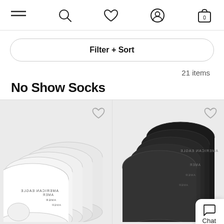Navigation bar with menu, search, wishlist, account, and cart icons
Filter + Sort
21 items
No Show Socks
[Figure (photo): White no-show socks (American Eagle) fanned out showing multiple pairs on light gray background with wishlist heart icon]
[Figure (photo): Black no-show socks (American Eagle) stacked showing multiple pairs on light gray background with wishlist heart icon and Chat button overlay]